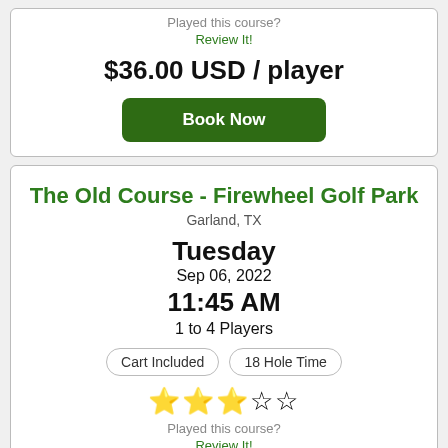Played this course?
Review It!
$36.00 USD / player
Book Now
The Old Course - Firewheel Golf Park
Garland, TX
Tuesday
Sep 06, 2022
11:45 AM
1 to 4 Players
Cart Included
18 Hole Time
[Figure (other): 3 filled gold stars and 2 empty stars rating]
Played this course?
Review It!